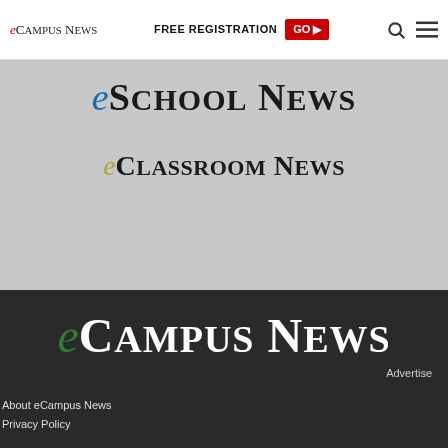eCampus News | FREE REGISTRATION GO ▶
[Figure (logo): eSchool News logo with stylized red 'e' and bold uppercase text]
[Figure (logo): eClassroom News logo with stylized italic 'e' and uppercase text]
[Figure (logo): eCampus News footer logo with green italic 'e' and bold white uppercase text on dark background]
Advertise
About eCampus News
Privacy Policy